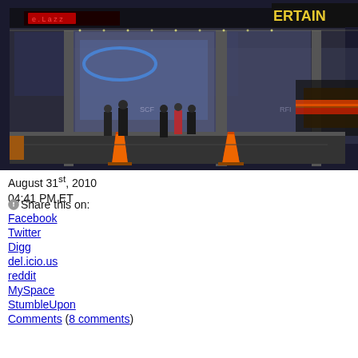[Figure (photo): Nighttime street photo showing people standing outside a building entrance with traffic cones and a passing car with blurred tail lights. Building has illuminated signage including red LED marquee and 'ERTAIN...' visible top right.]
August 31st, 2010
04:41 PM ET
Share this on:
Facebook
Twitter
Digg
del.icio.us
reddit
MySpace
StumbleUpon
Comments (8 comments)